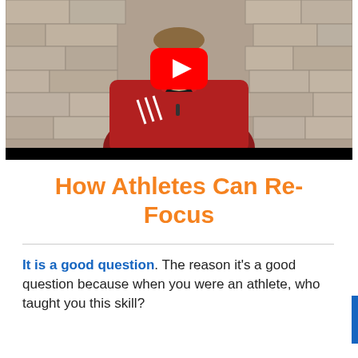[Figure (screenshot): YouTube video thumbnail showing a man in a red Adidas soccer jersey speaking in front of a stone wall background, with a red YouTube play button overlay in the center]
How Athletes Can Re-Focus
It is a good question. The reason it's a good question because when you were an athlete, who taught you this skill?